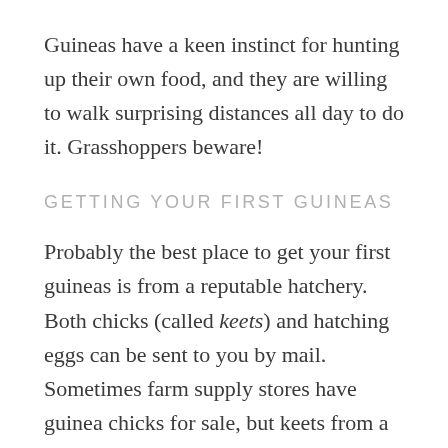Guineas have a keen instinct for hunting up their own food, and they are willing to walk surprising distances all day to do it. Grasshoppers beware!
GETTING YOUR FIRST GUINEAS
Probably the best place to get your first guineas is from a reputable hatchery. Both chicks (called keets) and hatching eggs can be sent to you by mail. Sometimes farm supply stores have guinea chicks for sale, but keets from a good hatchery are often healthier. Reputable hatcheries will also offer